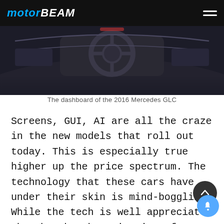MOTORBEAM
[Figure (photo): Dashboard interior of the 2016 Mercedes GLC showing steering wheel and center console in dark tones]
The dashboard of the 2016 Mercedes GLC
Screens, GUI, AI are all the craze in the new models that roll out today. This is especially true higher up the price spectrum. The technology that these cars have under their skin is mind-boggling. While the tech is well appreciated when bought, but give it a few years, and your tech seems like stone-age compared to the new one on the market. Just take a look at the GLC from four years ago. The materials still look exquisite, and so does the layout. But what takes the limelight is the